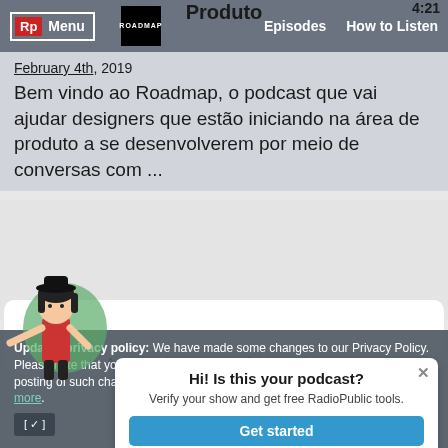Produto   4:21
[Figure (screenshot): Navigation bar with Rp logo, Menu button, Roadmap logo, Episodes and How to Listen links]
February 4th, 2019
Bem vindo ao Roadmap, o podcast que vai ajudar designers que estão iniciando na área de produto a se desenvolverem por meio de conversas com ...
Are you the creator of this podcast?
[Figure (illustration): Cartoon character illustration of a girl with dark hair pointing, with a green circular background element]
Hi! Is this your podcast?
Verify your show and get free RadioPublic tools.
Get started
Updated privacy policy: We have made some changes to our Privacy Policy. Please note that your continued use of the RadioPublic services following the posting of such changes will be deemed an acceptance of this update. Learn more.